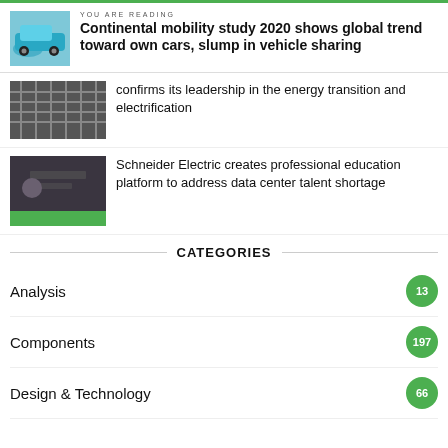YOU ARE READING
Continental mobility study 2020 shows global trend toward own cars, slump in vehicle sharing
confirms its leadership in the energy transition and electrification
Schneider Electric creates professional education platform to address data center talent shortage
CATEGORIES
Analysis 13
Components 197
Design & Technology 66